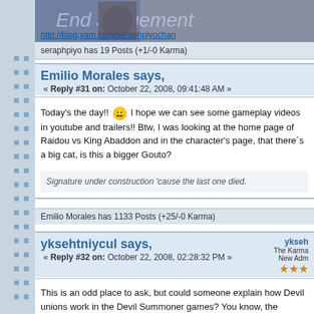[Figure (screenshot): Top banner image of a game/blog header, partially visible]
http://blog.yam.com/seraphpiyochan
seraphpiyo has 19 Posts (+1/-0 Karma)
Emilio Morales says,
« Reply #31 on: October 22, 2008, 09:41:48 AM »
Today's the day!! 😀 I hope we can see some gameplay videos in youtube and trailers!! Btw, I was looking at the home page of Raidou vs King Abaddon and in the character's page, that there´s a big cat, is this a bigger Gouto?
Signature under construction 'cause the last one died.
Emilio Morales has 1133 Posts (+25/-0 Karma)
yksehtniycul says,
« Reply #32 on: October 22, 2008, 02:28:32 PM »
ykseh
The Karma
New Adm
This is an odd place to ask, but could someone explain how Devil unions work in the Devil Summoner games? You know, the setting, and if it is any different from the other games.